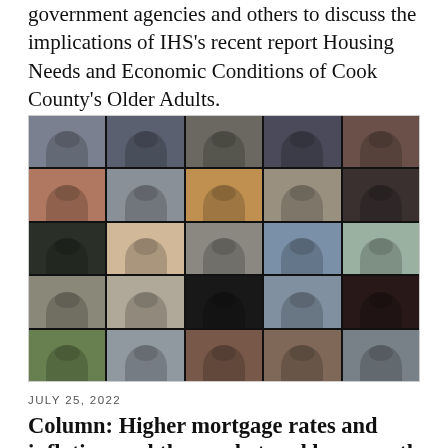government agencies and others to discuss the implications of IHS's recent report Housing Needs and Economic Conditions of Cook County's Older Adults.
[Figure (photo): A 5×5 grid video conference screenshot showing 25 participants in a virtual meeting, with varied backgrounds and individuals visible in each tile.]
JULY 25, 2022
Column: Higher mortgage rates and inflation cool the market and leave south suburban sellers with fewer options,